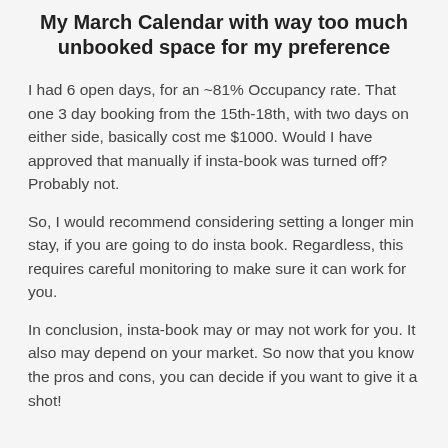My March Calendar with way too much unbooked space for my preference
I had 6 open days, for an ~81% Occupancy rate. That one 3 day booking from the 15th-18th, with two days on either side, basically cost me $1000. Would I have approved that manually if insta-book was turned off? Probably not.
So, I would recommend considering setting a longer min stay, if you are going to do insta book. Regardless, this requires careful monitoring to make sure it can work for you.
In conclusion, insta-book may or may not work for you. It also may depend on your market. So now that you know the pros and cons, you can decide if you want to give it a shot!